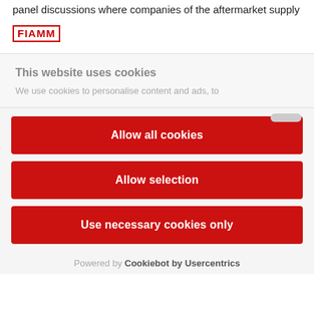panel discussions where companies of the aftermarket supply
[Figure (logo): FIAMM logo in red with border]
This website uses cookies
We use cookies to personalise content and ads, to
Allow all cookies
Allow selection
Use necessary cookies only
Powered by Cookiebot by Usercentrics